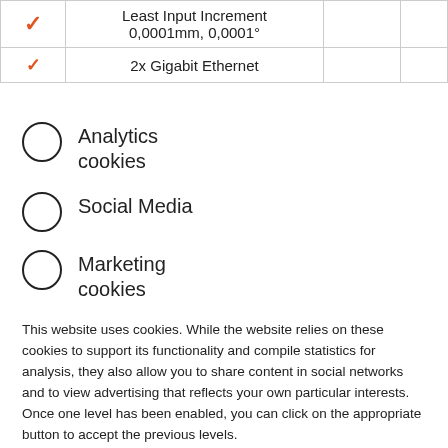|  | Least Input Increment 0,0001mm, 0,0001° |  |  |
| --- | --- | --- | --- |
| ✓ (orange) | Least Input Increment 0,0001mm, 0,0001° |  |  |
| ✓ (orange) | 2x Gigabit Ethernet |  |  |
Analytics cookies
Social Media
Marketing cookies
This website uses cookies. While the website relies on these cookies to support its functionality and compile statistics for analysis, they also allow you to share content in social networks and to view advertising that reflects your own particular interests. Once one level has been enabled, you can click on the appropriate button to accept the previous levels.
Detailed information
Confirm your selection
Select all and confirm